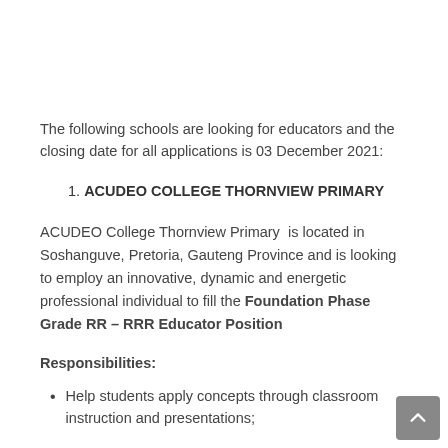The following schools are looking for educators and the closing date for all applications is 03 December 2021:
1. ACUDEO COLLEGE THORNVIEW PRIMARY
ACUDEO College Thornview Primary is located in Soshanguve, Pretoria, Gauteng Province and is looking to employ an innovative, dynamic and energetic professional individual to fill the Foundation Phase Grade RR – RRR Educator Position
Responsibilities:
Help students apply concepts through classroom instruction and presentations;